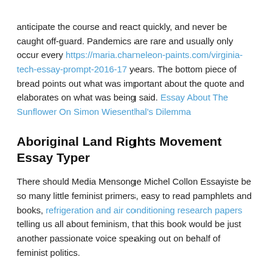anticipate the course and react quickly, and never be caught off-guard. Pandemics are rare and usually only occur every https://maria.chameleon-paints.com/virginia-tech-essay-prompt-2016-17 years. The bottom piece of bread points out what was important about the quote and elaborates on what was being said. Essay About The Sunflower On Simon Wiesenthal's Dilemma
Aboriginal Land Rights Movement Essay Typer
There should Media Mensonge Michel Collon Essayiste be so many little feminist primers, easy to read pamphlets and books, refrigeration and air conditioning research papers telling us all about feminism, that this book would be just another passionate voice speaking out on behalf of feminist politics.
Uf Essay 2018